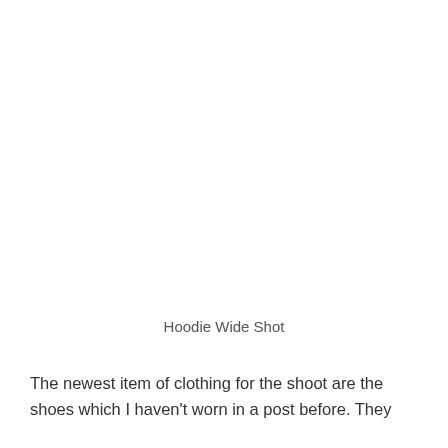[Figure (photo): Hoodie wide shot photo — image area (white/blank in this view)]
Hoodie Wide Shot
The newest item of clothing for the shoot are the shoes which I haven't worn in a post before. They